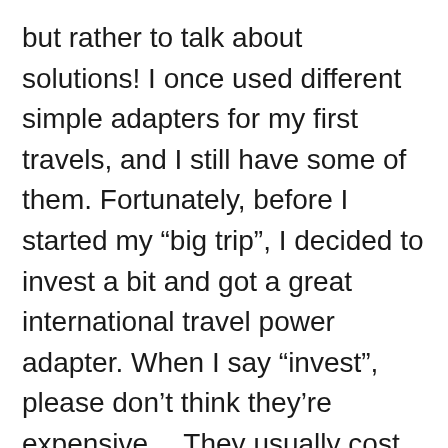but rather to talk about solutions! I once used different simple adapters for my first travels, and I still have some of them. Fortunately, before I started my “big trip”, I decided to invest a bit and got a great international travel power adapter. When I say “invest”, please don’t think they’re expensive… They usually cost between 10 to 20 dollars, so it won’t be something that will break your bank.